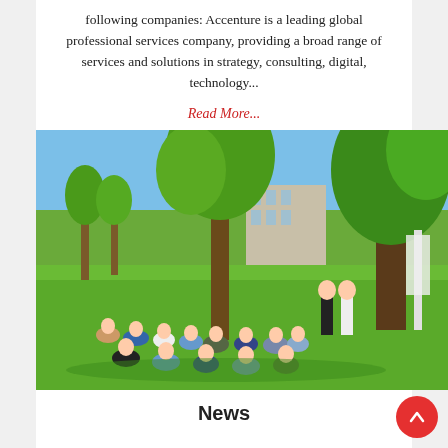following companies: Accenture is a leading global professional services company, providing a broad range of services and solutions in strategy, consulting, digital, technology...
Read More...
[Figure (photo): Outdoor group session on grass under trees. A group of students are sitting in a circle on the lawn, with two people standing and presenting. Trees, a building, and a clear blue sky are visible in the background.]
News